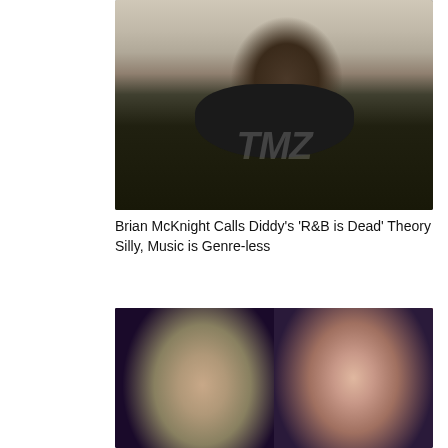[Figure (photo): Man wearing a dark face mask, close-up selfie-style photo with a TMZ watermark, computer monitor visible in background]
Brian McKnight Calls Diddy’s ‘R&B is Dead’ Theory Silly, Music is Genre-less
[Figure (photo): Side-by-side photo of Ozzy Osbourne wearing round tinted glasses and Sharon Osbourne with red hair]